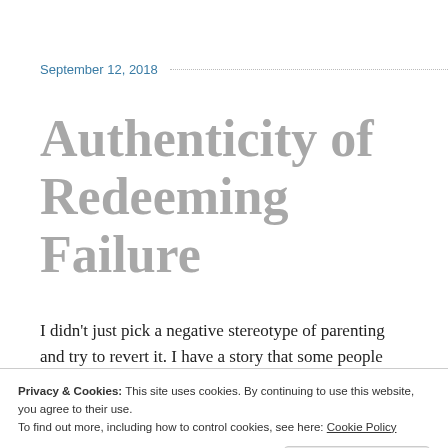September 12, 2018
Authenticity of Redeeming Failure
I didn't just pick a negative stereotype of parenting and try to revert it. I have a story that some people
Privacy & Cookies: This site uses cookies. By continuing to use this website, you agree to their use.
To find out more, including how to control cookies, see here: Cookie Policy

Close and accept